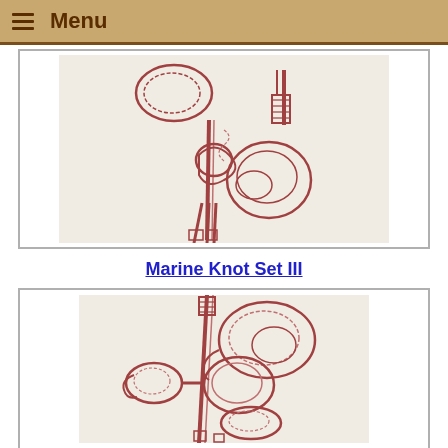Menu
[Figure (illustration): Line drawing illustration of marine rope knots showing a loop knot at top, a wrapped rope end at top right, and a complex knot with trailing ends at center-bottom, all drawn in reddish-brown on off-white background.]
Marine Knot Set III
[Figure (illustration): Line drawing illustration of marine rope knots showing multiple complex knots tied together on a vertical rope, with loops and interlocking twisted rope sections, drawn in reddish-brown on off-white background.]